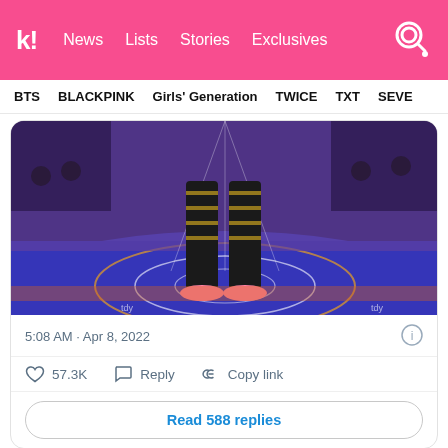k! News Lists Stories Exclusives
BTS BLACKPINK Girls' Generation TWICE TXT SEVE
[Figure (photo): A performer standing on a basketball court floor (Golden State Warriors logo visible) with colorful stage lighting; crowd in background. Only legs/boots visible, wearing shredded metallic pants.]
5:08 AM · Apr 8, 2022
57.3K  Reply  Copy link
Read 588 replies
Additionally, the Warriors have already released